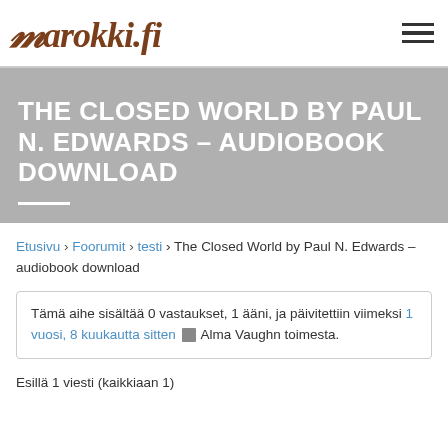marokki.fi
THE CLOSED WORLD BY PAUL N. EDWARDS – AUDIOBOOK DOWNLOAD
Etusivu › Foorumit › testi › The Closed World by Paul N. Edwards – audiobook download
Tämä aihe sisältää 0 vastaukset, 1 ääni, ja päivitettiin viimeksi 1 vuosi, 8 kuukautta sitten Alma Vaughn toimesta.
Esillä 1 viesti (kaikkiaan 1)